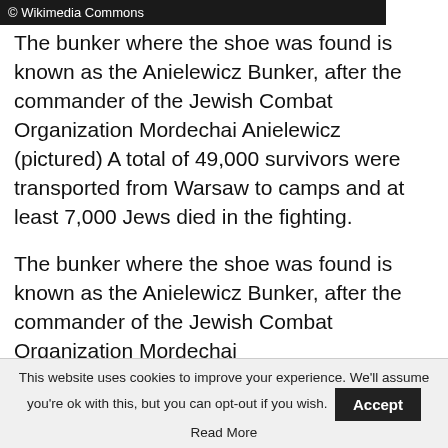© Wikimedia Commons
The bunker where the shoe was found is known as the Anielewicz Bunker, after the commander of the Jewish Combat Organization Mordechai Anielewicz (pictured) A total of 49,000 survivors were transported from Warsaw to camps and at least 7,000 Jews died in the fighting.
The bunker where the shoe was found is known as the Anielewicz Bunker, after the commander of the Jewish Combat Organization Mordechai
This website uses cookies to improve your experience. We'll assume you're ok with this, but you can opt-out if you wish. Accept Read More